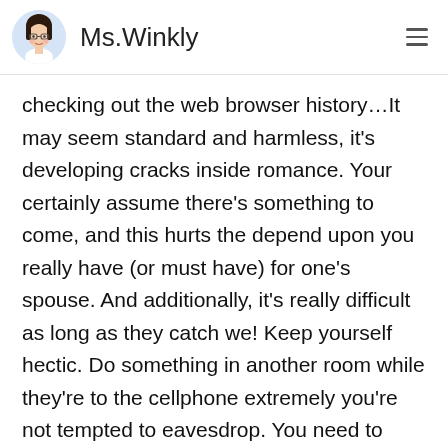Ms.Winkly
checking out the web browser history…It may seem standard and harmless, it's developing cracks inside romance. Your certainly assume there's something to come, and this hurts the depend upon you really have (or must have) for one's spouse. And additionally, it's really difficult as long as they catch we! Keep yourself hectic. Do something in another room while they're to the cellphone extremely you're not tempted to eavesdrop. You need to each indication from your very own email records before leaving the personal computer. Gradually, in the event that you dont bring likelihood to spy, it's going to fall